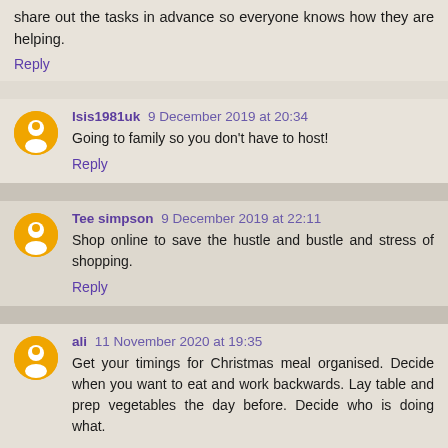share out the tasks in advance so everyone knows how they are helping.
Reply
Isis1981uk 9 December 2019 at 20:34
Going to family so you don't have to host!
Reply
Tee simpson 9 December 2019 at 22:11
Shop online to save the hustle and bustle and stress of shopping.
Reply
ali 11 November 2020 at 19:35
Get your timings for Christmas meal organised. Decide when you want to eat and work backwards. Lay table and prep vegetables the day before. Decide who is doing what.